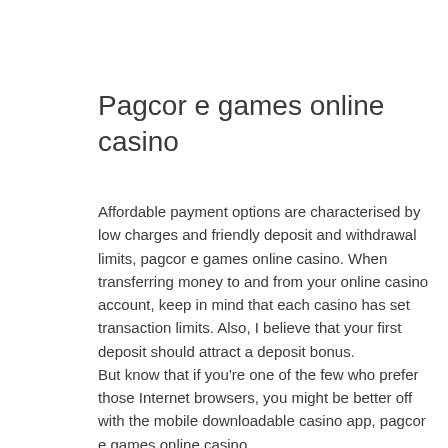Pagcor e games online casino
Affordable payment options are characterised by low charges and friendly deposit and withdrawal limits, pagcor e games online casino. When transferring money to and from your online casino account, keep in mind that each casino has set transaction limits. Also, I believe that your first deposit should attract a deposit bonus.
But know that if you're one of the few who prefer those Internet browsers, you might be better off with the mobile downloadable casino app, pagcor e games online casino.
The game has five reels and 25 paylines